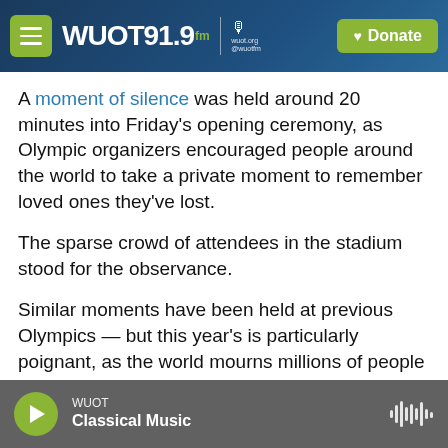WUOT 91.9 FM | wuot.org @wuotfm | Donate
A moment of silence was held around 20 minutes into Friday's opening ceremony, as Olympic organizers encouraged people around the world to take a private moment to remember loved ones they've lost.
The sparse crowd of attendees in the stadium stood for the observance.
Similar moments have been held at previous Olympics — but this year's is particularly poignant, as the world mourns millions of people who have died during the pandemic.
WUOT Classical Music